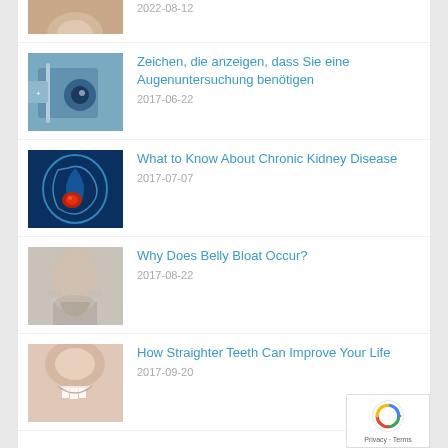2022-08-12
Zeichen, die anzeigen, dass Sie eine Augenuntersuchung benötigen
2017-06-22
What to Know About Chronic Kidney Disease
2017-07-07
Why Does Belly Bloat Occur?
2017-08-22
How Straighter Teeth Can Improve Your Life
2017-09-20
[Figure (logo): reCAPTCHA badge with Google logo and Privacy · Terms text]